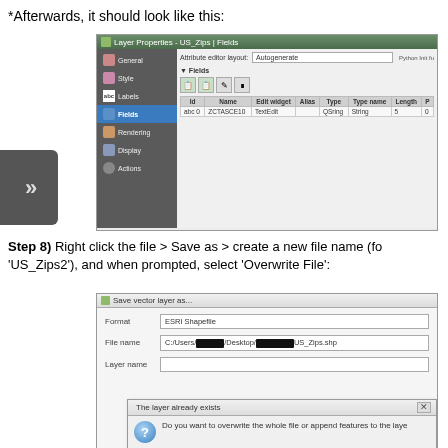*Afterwards, it should look like this:
[Figure (screenshot): Layer Properties - US_Zips | Fields dialog showing fields table with columns Id, Name, Edit widget, Alias, Type, Type name, Length, P. One row: abc 0, ZCTASCE10, TextEdit, QSRing, String, 5, 0]
Step 8) Right click the file > Save as > create a new file name (fo 'US_Zips2'), and when prompted, select 'Overwrite File':
[Figure (screenshot): Save vector layer as dialog showing Format: ESRI Shapefile, File name: C:/Users/[redacted]/Desktop/[redacted]/US_Zips.shp, Layer name field, and a sub-dialog 'The layer already exists' with message 'Do you want to overwrite the whole file or append features to the layer']